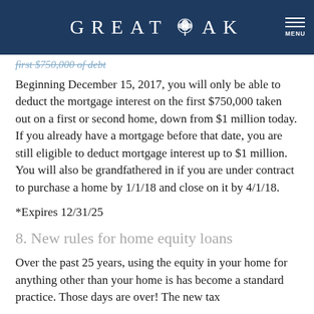GREAT OAK
first $750,000 of debt
Beginning December 15, 2017, you will only be able to deduct the mortgage interest on the first $750,000 taken out on a first or second home, down from $1 million today. If you already have a mortgage before that date, you are still eligible to deduct mortgage interest up to $1 million. You will also be grandfathered in if you are under contract to purchase a home by 1/1/18 and close on it by 4/1/18.
*Expires 12/31/25
8. New rules for home equity loans
Over the past 25 years, using the equity in your home for anything other than your home is has become a standard practice. Those days are over! The new tax